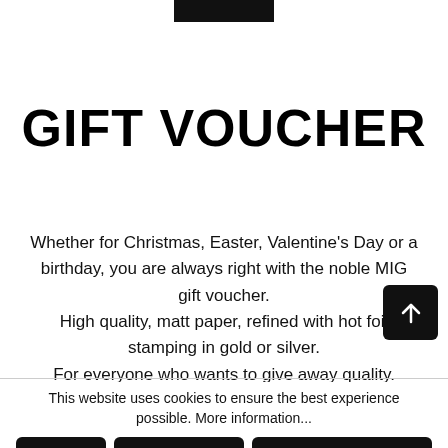[Figure (other): Dark rectangular bar at the top center of the page (partial UI element)]
GIFT VOUCHER
Whether for Christmas, Easter, Valentine's Day or a birthday, you are always right with the noble MIG gift voucher.
High quality, matt paper, refined with hot foil stamping in gold or silver.
For everyone who wants to give away quality.
This website uses cookies to ensure the best experience possible. More information...
Deny
Configure
Accept all cookies